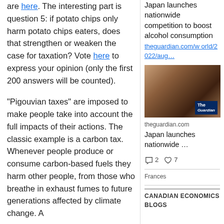are here. The interesting part is question 5: if potato chips only harm potato chips eaters, does that strengthen or weaken the case for taxation? Vote here to express your opinion (only the first 200 answers will be counted).
"Pigouvian taxes" are imposed to make people take into account the full impacts of their actions. The classic example is a carbon tax. Whenever people produce or consume carbon-based fuels they harm other people, from those who breathe in exhaust fumes to future generations affected by climate change. A
Japan launches nationwide competition to boost alcohol consumption
theguardian.com/world/2022/aug…
[Figure (photo): Photo of a woman drinking wine at a restaurant or bar, with The Guardian logo badge in the bottom right corner]
theguardian.com
Japan launches nationwide …
2 comments, 7 likes
Frances
CANADIAN ECONOMICS BLOGS